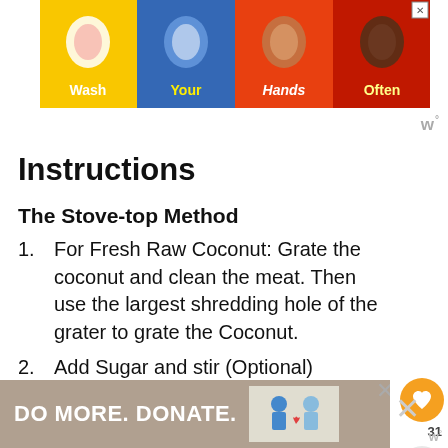[Figure (infographic): Wash Your Hands Often advertisement banner with colorful hand washing icons on yellow, blue, orange, and red backgrounds]
[Figure (logo): W superscript logo watermark in gray]
Instructions
The Stove-top Method
1. For Fresh Raw Coconut: Grate the coconut and clean the meat. Then use the largest shredding hole of the grater to grate the Coconut.
2. Add Sugar and stir (Optional)
3. In a medium pan, heat the oil on medium heat. Add your coconut flakes
[Figure (infographic): DO MORE. DONATE. advertisement banner with illustration of people]